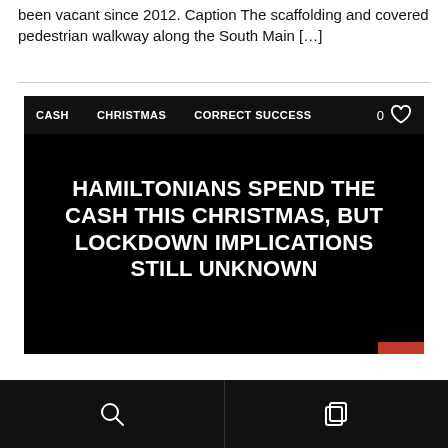been vacant since 2012. Caption The scaffolding and covered pedestrian walkway along the South Main [...]
[Figure (screenshot): Article card with black background showing tags CASH, CHRISTMAS, CORRECT SUCCESS, a heart icon with 0, a bold white headline 'HAMILTONIANS SPEND THE CASH THIS CHRISTMAS, BUT LOCKDOWN IMPLICATIONS STILL UNKNOWN', author Tim Hartwell, date DECEMBER 19, 2021, and a red menu button]
...
Search icon and copy/bookmark icon on black bar